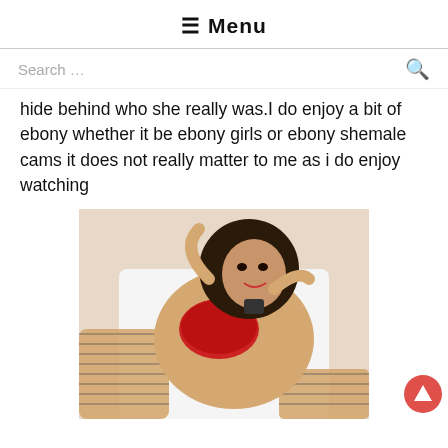☰ Menu
Search ...
hide behind who she really was.I do enjoy a bit of ebony whether it be ebony girls or ebony shemale cams it does not really matter to me as i do enjoy watching
[Figure (photo): Woman in red lingerie and fishnet stockings posing in a bathtub]